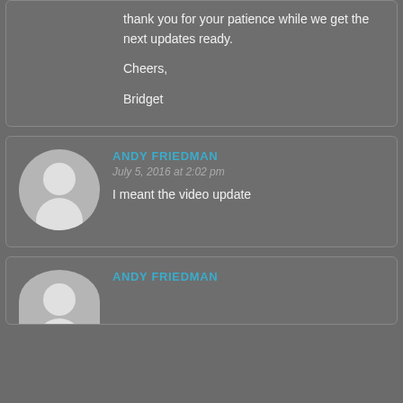thank you for your patience while we get the next updates ready.

Cheers,

Bridget
ANDY FRIEDMAN
July 5, 2016 at 2:02 pm
I meant the video update
ANDY FRIEDMAN